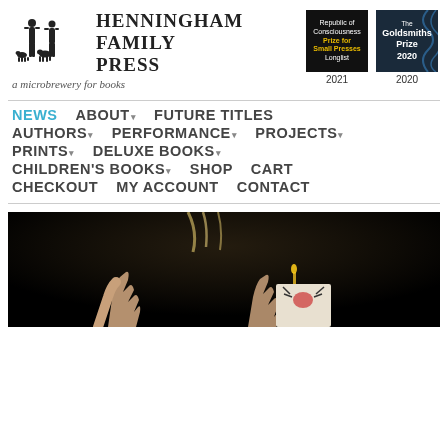[Figure (logo): Henningham Family Press logo with silhouette of two people and animals, text 'HENNINGHAM FAMILY PRESS', tagline 'a microbrewery for books']
[Figure (other): Republic of Consciousness Prize for Small Presses Longlist 2021 badge - black background with yellow text]
[Figure (other): The Goldsmiths Prize 2020 badge - dark blue background with white text and squiggly line]
NEWS
ABOUT
FUTURE TITLES
AUTHORS
PERFORMANCE
PROJECTS
PRINTS
DELUXE BOOKS
CHILDREN'S BOOKS
SHOP
CART
CHECKOUT
MY ACCOUNT
CONTACT
[Figure (photo): Dark stage performance photo showing hands raised and a book/drawing being held up, dark background with dramatic lighting]